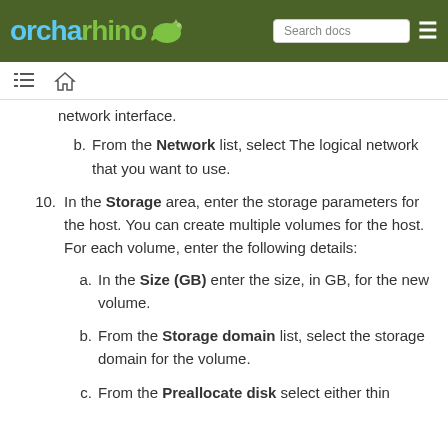orcharhino — Search docs
network interface.
b. From the Network list, select The logical network that you want to use.
10. In the Storage area, enter the storage parameters for the host. You can create multiple volumes for the host. For each volume, enter the following details:
a. In the Size (GB) enter the size, in GB, for the new volume.
b. From the Storage domain list, select the storage domain for the volume.
c. From the Preallocate disk, select either thin...